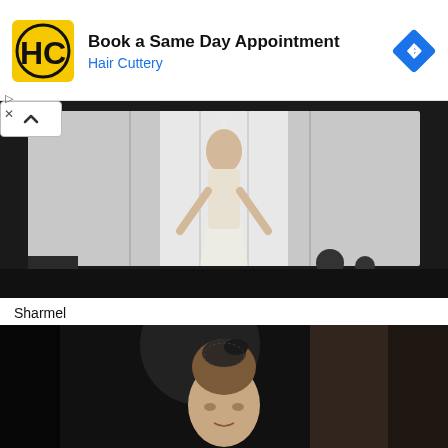[Figure (screenshot): Hair Cuttery advertisement banner with HC logo, 'Book a Same Day Appointment' headline, 'Hair Cuttery' subtitle in blue, and a blue diamond arrow icon on the right]
[Figure (photo): Fashion photo shown upside down — performers in white fabric/curtain backdrop with silhouetted figures at bottom, with a chevron/up arrow button overlay at top left]
Sharmel
[Figure (photo): Fashion runway photo of a woman with an elaborate updo hairstyle and decorative black headpiece, photographed against a dark background]